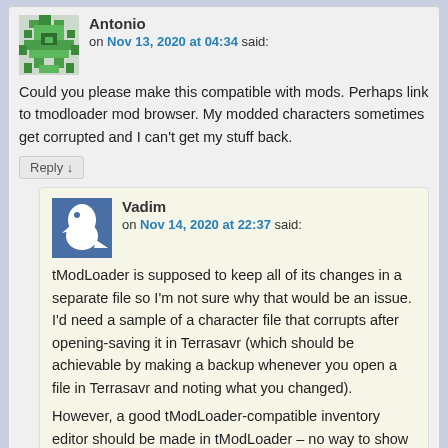Antonio on Nov 13, 2020 at 04:34 said:
Could you please make this compatible with mods. Perhaps link to tmodloader mod browser. My modded characters sometimes get corrupted and I can't get my stuff back.
Reply ↓
Vadim on Nov 14, 2020 at 22:37 said:
tModLoader is supposed to keep all of its changes in a separate file so I'm not sure why that would be an issue. I'd need a sample of a character file that corrupts after opening-saving it in Terrasavr (which should be achievable by making a backup whenever you open a file in Terrasavr and noting what you changed).
However, a good tModLoader-compatible inventory editor should be made in tModLoader – no way to show items from hundreds of different mods otherwise.
Reply ↓